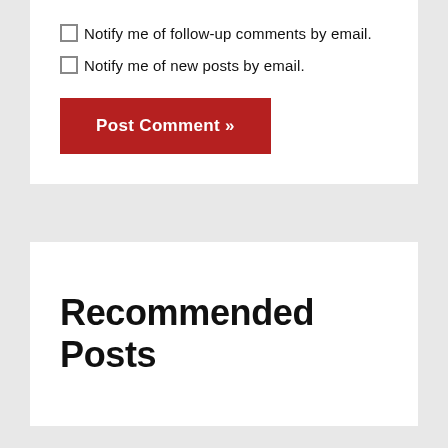Notify me of follow-up comments by email.
Notify me of new posts by email.
Post Comment »
Recommended Posts
Library